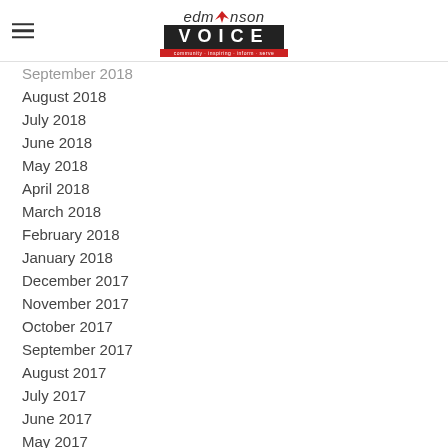Edmonson Voice
September 2018
August 2018
July 2018
June 2018
May 2018
April 2018
March 2018
February 2018
January 2018
December 2017
November 2017
October 2017
September 2017
August 2017
July 2017
June 2017
May 2017
April 2017